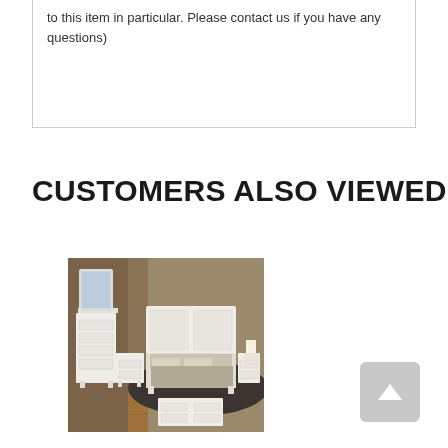to this item in particular. Please contact us if you have any questions)
CUSTOMERS ALSO VIEWED
[Figure (photo): A bedroom furniture set featuring white-painted dresser, mirror, headboard bed, and nightstands arranged in a room with brown/wood flooring and tan walls.]